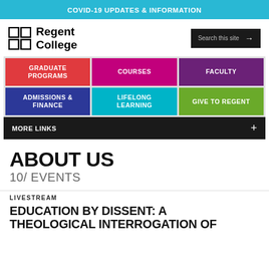COVID-19 UPDATES & INFORMATION
[Figure (logo): Regent College logo with grid icon and bold text]
[Figure (other): Search this site button with arrow]
[Figure (other): Navigation grid: Graduate Programs (red), Courses (magenta), Faculty (purple), Admissions & Finance (navy), Lifelong Learning (teal), Give to Regent (green)]
[Figure (other): More Links bar with plus icon]
ABOUT US
10/ EVENTS
LIVESTREAM
EDUCATION BY DISSENT: A THEOLOGICAL INTERROGATION OF